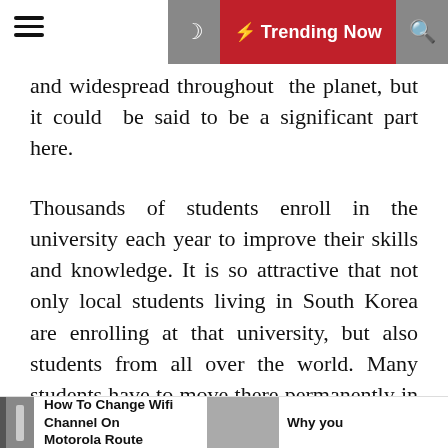☰ ☾ ⚡ Trending Now 🔍
and widespread throughout the planet, but it could be said to be a significant part here.
Thousands of students enroll in the university each year to improve their skills and knowledge. It is so attractive that not only local students living in South Korea are enrolling at that university, but also students from all over the world. Many students have to move there permanently in order to graduate from that university.
3. Nightlife
Tourists visiting Seoul can only say words of praise for its nightlife. There you can find many restaurants, pubs, and
How To Change Wifi Channel On Motorola Route   Why you